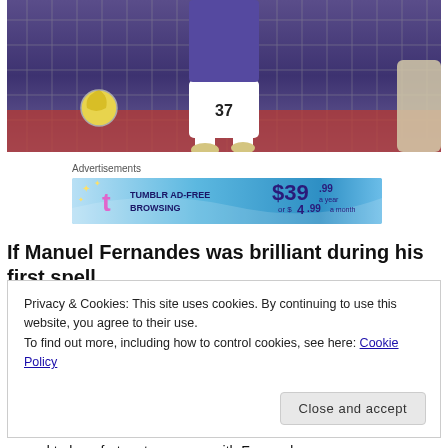[Figure (photo): Soccer player wearing white shorts with number 37, jumping near a goal net. A yellow soccer ball is visible to the left. The player appears to be wearing a purple/blue jersey. Part of another player is visible at the right edge.]
Advertisements
[Figure (other): Tumblr ad banner: Tumblr AD-FREE BROWSING. $39.99 a year or $4.99 a month]
If Manuel Fernandes was brilliant during his first spell
Privacy & Cookies: This site uses cookies. By continuing to use this website, you agree to their use.
To find out more, including how to control cookies, see here: Cookie Policy
[Close and accept button]
proved to be a fortunate escape, with Fernandes